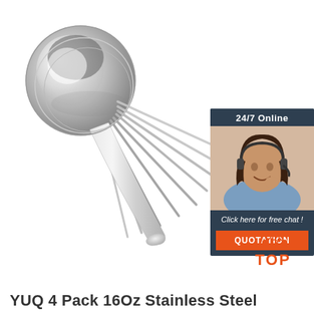[Figure (photo): Multiple stainless steel spoons fanned out against a white background, showing the round spoon heads at top-left and long handles extending to the lower-right]
[Figure (infographic): Dark blue chat box in top-right area showing '24/7 Online' text, photo of a woman with headset, 'Click here for free chat!' text, and an orange QUOTATION button]
[Figure (logo): Orange 'TOP' logo with dots arranged in a triangle above the text, positioned bottom-right]
YUQ 4 Pack 16Oz Stainless Steel